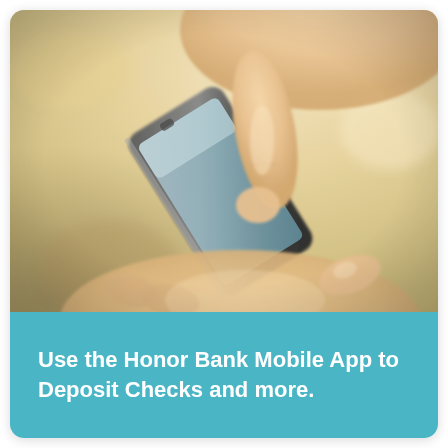[Figure (photo): Close-up photo of hands holding and tapping on a smartphone, taken from above at an angle. Warm, soft bokeh background in beige/tan tones. The phone is dark/silver colored, being touched by a finger from above and held from below.]
Use the Honor Bank Mobile App to Deposit Checks and more.